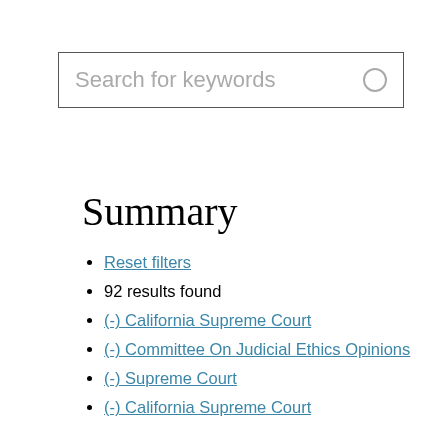[Figure (screenshot): Search input box with placeholder text 'Search for keywords' and a small circle icon on the right]
Summary
Reset filters
92 results found
(-) California Supreme Court
(-) Committee On Judicial Ethics Opinions
(-) Supreme Court
(-) California Supreme Court